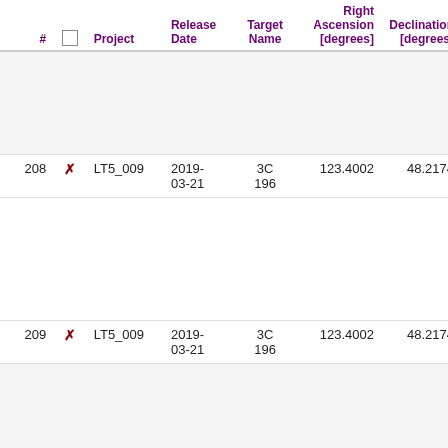| # |  | Project | Release Date | Target Name | Right Ascension [degrees] | Declination [degrees] | Central Frequency [MHz] | Ch Wi… |
| --- | --- | --- | --- | --- | --- | --- | --- | --- |
| 208 | ✗ | LT5_009 | 2019-03-21 | 3C 196 | 123.4002 | 48.2174 | 194.2188 | 122… |
| 209 | ✗ | LT5_009 | 2019-03-21 | 3C 196 | 123.4002 | 48.2174 | 194.3750 | 122… |
| 210 | ✗ | LT5_009 | 2019-03-21 | 3C 196 | 123.4002 | 48.2174 | 194.5312 | 122… |